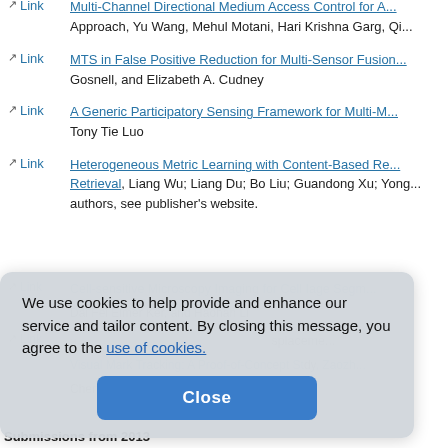Link — Multi-Channel Directional Medium Access Control for A... Approach, Yu Wang, Mehul Motani, Hari Krishna Garg, Qi...
Link — MTS in False Positive Reduction for Multi-Sensor Fusion... Gosnell, and Elizabeth A. Cudney
Link — A Generic Participatory Sensing Framework for Multi-M... Tony Tie Luo
Link — Heterogeneous Metric Learning with Content-Based Re... Retrieval, Liang Wu; Liang Du; Bo Liu; Guandong Xu; Yong... authors, see publisher's website.
We use cookies to help provide and enhance our service and tailor content. By closing this message, you agree to the use of cookies.
Close
Link — Cell-sensitive Microscopy Imaging for Cell Image Segm... Dai Fei Elmer Ker, and Haohan Li
Link — ...displacement... Visual Mark Tracking: A Proof-of-Concept Study, Zaozh... Chen
Submissions from 2013